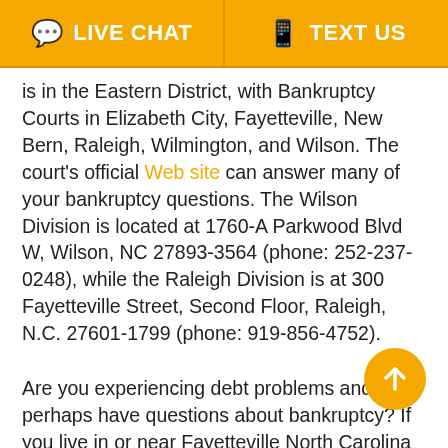[Figure (infographic): Yellow header bar with two buttons: LIVE CHAT (with speech bubble icon) and TEXT US (with phone icon), separated by a vertical divider]
is in the Eastern District, with Bankruptcy Courts in Elizabeth City, Fayetteville, New Bern, Raleigh, Wilmington, and Wilson. The court's official Web site can answer many of your bankruptcy questions. The Wilson Division is located at 1760-A Parkwood Blvd W, Wilson, NC 27893-3564 (phone: 252-237-0248), while the Raleigh Division is at 300 Fayetteville Street, Second Floor, Raleigh, N.C. 27601-1799 (phone: 919-856-4752).
Are you experiencing debt problems and perhaps have questions about bankruptcy? If you live in or near Fayetteville North Carolina please visit the Law offices of John T. Orcutt to find out more. If s can have all your questions answered by visi ne Law offices of John T. Orcutt in Wilson. Our law office provides a FREE in-depth bankruptcy